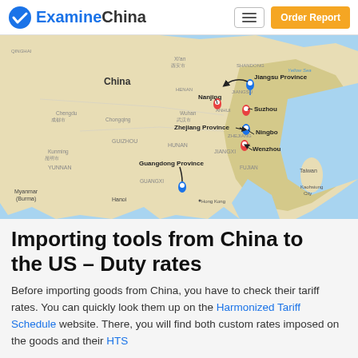ExamineChina | Order Report
[Figure (map): Map of eastern China showing manufacturing provinces: Jiangsu Province (with Nanjing, Suzhou), Zhejiang Province (with Ningbo, Wenzhou), and Guangdong Province, with location pins and arrows pointing to cities.]
Importing tools from China to the US – Duty rates
Before importing goods from China, you have to check their tariff rates. You can quickly look them up on the Harmonized Tariff Schedule website. There, you will find both custom rates imposed on the goods and their HTS